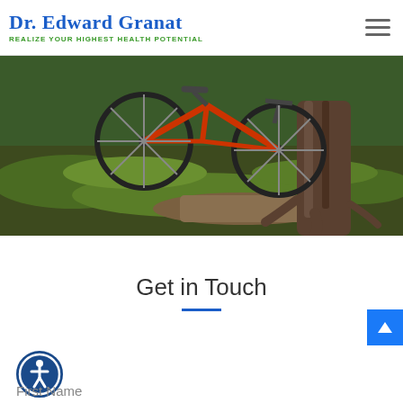Dr. Edward Granat — Realize Your Highest Health Potential
[Figure (photo): Outdoor scene showing a bicycle partially visible and a large tree trunk, grass and path in background]
Get in Touch
[Figure (illustration): Accessibility/wheelchair person icon in a blue circle]
First Name